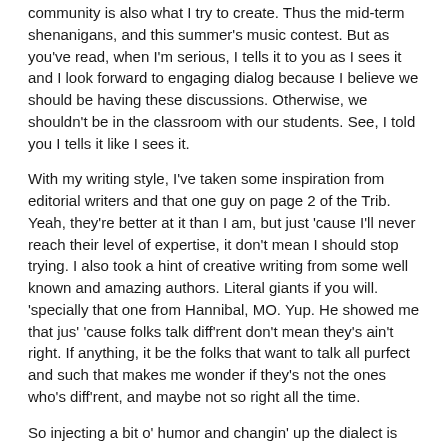community is also what I try to create. Thus the mid-term shenanigans, and this summer's music contest. But as you've read, when I'm serious, I tells it to you as I sees it and I look forward to engaging dialog because I believe we should be having these discussions. Otherwise, we shouldn't be in the classroom with our students. See, I told you I tells it like I sees it.
With my writing style, I've taken some inspiration from editorial writers and that one guy on page 2 of the Trib. Yeah, they're better at it than I am, but just 'cause I'll never reach their level of expertise, it don't mean I should stop trying. I also took a hint of creative writing from some well known and amazing authors. Literal giants if you will. 'specially that one from Hannibal, MO. Yup. He showed me that jus' 'cause folks talk diff'rent don't mean they's ain't right. If anything, it be the folks that want to talk all purfect and such that makes me wonder if they's not the ones who's diff'rent, and maybe not so right all the time.
So injecting a bit o' humor and changin' up the dialect is just me bein' creative and different. And havin' some fun. Just tryin' to give Dave that diversity in more ways than one.